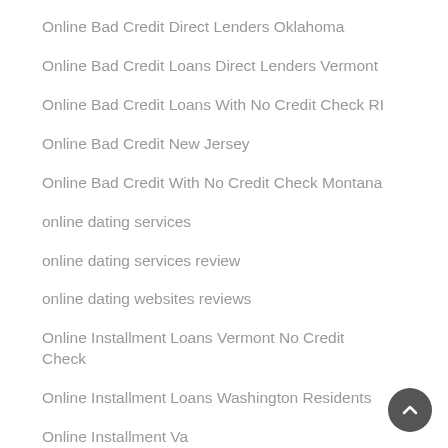Online Bad Credit Direct Lenders Oklahoma
Online Bad Credit Loans Direct Lenders Vermont
Online Bad Credit Loans With No Credit Check RI
Online Bad Credit New Jersey
Online Bad Credit With No Credit Check Montana
online dating services
online dating services review
online dating websites reviews
Online Installment Loans Vermont No Credit Check
Online Installment Loans Washington Residents
Online Installment Va